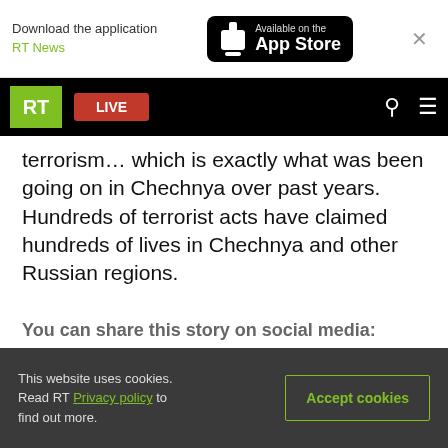Download the application RT News — Available on the App Store
RT LIVE
terrorism… which is exactly what was been going on in Chechnya over past years. Hundreds of terrorist acts have claimed hundreds of lives in Chechnya and other Russian regions.
You can share this story on social media:
[Figure (infographic): Social media sharing icons: Twitter (blue bird), Reddit (orange), Telegram (blue), WhatsApp (green), VK (dark blue), Email (gray), Link (gray)]
This website uses cookies. Read RT Privacy policy to find out more. Accept cookies